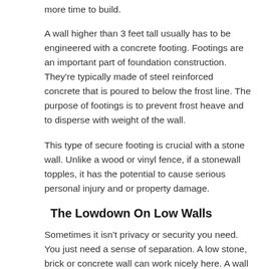more time to build.
A wall higher than 3 feet tall usually has to be engineered with a concrete footing. Footings are an important part of foundation construction. They're typically made of steel reinforced concrete that is poured to below the frost line. The purpose of footings is to prevent frost heave and to disperse with weight of the wall.
This type of secure footing is crucial with a stone wall. Unlike a wood or vinyl fence, if a stonewall topples, it has the potential to cause serious personal injury and or property damage.
The Lowdown On Low Walls
Sometimes it isn't privacy or security you need. You just need a sense of separation. A low stone, brick or concrete wall can work nicely here. A wall of about 18 inches tall works great to divide space in a